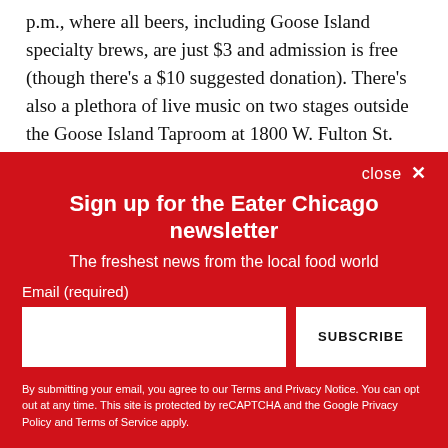p.m., where all beers, including Goose Island specialty brews, are just $3 and admission is free (though there's a $10 suggested donation). There's also a plethora of live music on two stages outside the Goose Island Taproom at 1800 W. Fulton St.
—Luella's Southern Kitchen has discontinued breakfast service, according to Facebook, at which the owner chat...
close ×
Sign up for the Eater Chicago newsletter
The freshest news from the local food world
Email (required)
SUBSCRIBE
By submitting your email, you agree to our Terms and Privacy Notice. You can opt out at any time. This site is protected by reCAPTCHA and the Google Privacy Policy and Terms of Service apply.